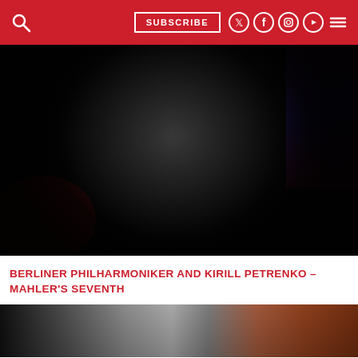SUBSCRIBE [navigation bar with search, social icons, and menu]
[Figure (photo): Black and white photo of conductor Kirill Petrenko conducting, with red and purple/blue color accents in background]
BERLINER PHILHARMONIKER AND KIRILL PETRENKO – MAHLER'S SEVENTH
[Figure (photo): Partial photo of a person in front of a brick building, partially visible at bottom of page]